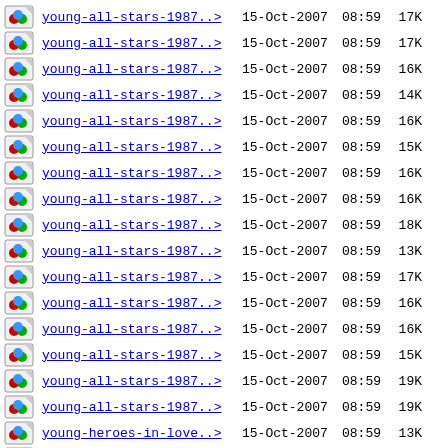young-all-stars-1987..> 15-Oct-2007 08:59 17K
young-all-stars-1987..> 15-Oct-2007 08:59 17K
young-all-stars-1987..> 15-Oct-2007 08:59 16K
young-all-stars-1987..> 15-Oct-2007 08:59 14K
young-all-stars-1987..> 15-Oct-2007 08:59 16K
young-all-stars-1987..> 15-Oct-2007 08:59 15K
young-all-stars-1987..> 15-Oct-2007 08:59 16K
young-all-stars-1987..> 15-Oct-2007 08:59 16K
young-all-stars-1987..> 15-Oct-2007 08:59 18K
young-all-stars-1987..> 15-Oct-2007 08:59 13K
young-all-stars-1987..> 15-Oct-2007 08:59 17K
young-all-stars-1987..> 15-Oct-2007 08:59 16K
young-all-stars-1987..> 15-Oct-2007 08:59 16K
young-all-stars-1987..> 15-Oct-2007 08:59 15K
young-all-stars-1987..> 15-Oct-2007 08:59 19K
young-all-stars-1987..> 15-Oct-2007 08:59 19K
young-heroes-in-love..> 15-Oct-2007 08:59 13K